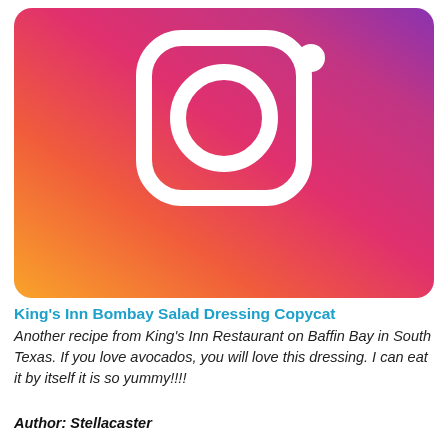[Figure (logo): Instagram logo on a gradient background (orange to pink to purple), showing the white camera outline icon with a circle lens and a small circle in the upper right corner.]
King's Inn Bombay Salad Dressing Copycat
Another recipe from King's Inn Restaurant on Baffin Bay in South Texas. If you love avocados, you will love this dressing. I can eat it by itself it is so yummy!!!!
Author: Stellacaster